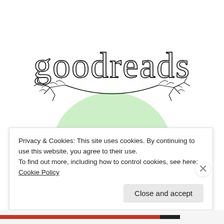[Figure (logo): Goodreads logo with cursive 'goodreads' text and decorative botanical banner, with a large green circular letter 'g' below and partial open-book illustration]
Privacy & Cookies: This site uses cookies. By continuing to use this website, you agree to their use.
To find out more, including how to control cookies, see here: Cookie Policy
Close and accept